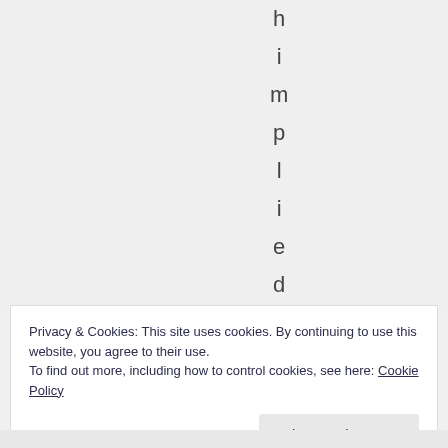h i m p l i e d b y t
Privacy & Cookies: This site uses cookies. By continuing to use this website, you agree to their use.
To find out more, including how to control cookies, see here: Cookie Policy
Close and accept